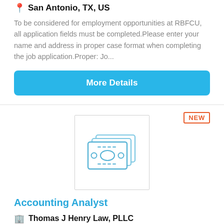San Antonio, TX, US
To be considered for employment opportunities at RBFCU, all application fields must be completed.Please enter your name and address in proper case format when completing the job application.Proper: Jo...
More Details
[Figure (illustration): Stack of banknotes / money icon in blue outline style inside a bordered square logo box]
Accounting Analyst
Thomas J Henry Law, PLLC